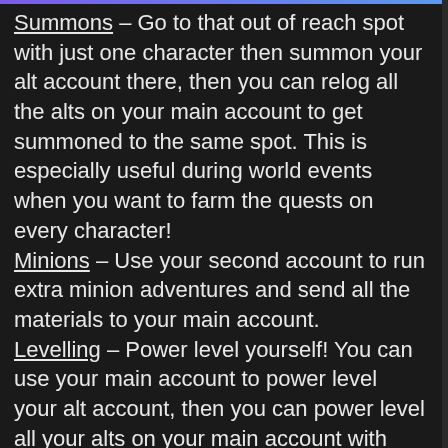Summons – Go to that out of reach spot with just one character then summon your alt account there, then you can relog all the alts on your main account to get summoned to the same spot. This is especially useful during world events when you want to farm the quests on every character!
Minions – Use your second account to run extra minion adventures and send all the materials to your main account.
Levelling – Power level yourself! You can use your main account to power level your alt account, then you can power level all your alts on your main account with your alt account.
Quest help – Use your second character to tank adds away from quest objectives or to buff your main to make you stronger.
Trading – Easily trade with other shards by using your second account, trade your second character your items then log on the shard you